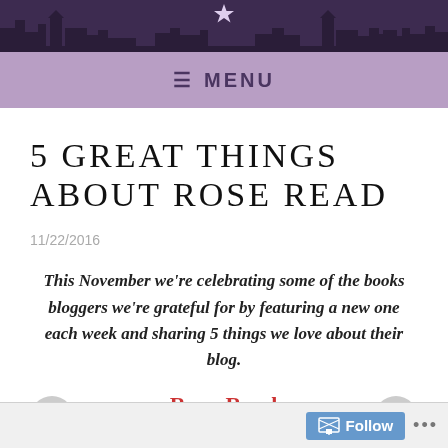[Figure (illustration): Dark purple website header banner with silhouette cityscape skyline and a star shape]
≡  MENU
5 GREAT THINGS ABOUT ROSE READ
11/22/2016
This November we're celebrating some of the books bloggers we're grateful for by featuring a new one each week and sharing 5 things we love about their blog.
Follow